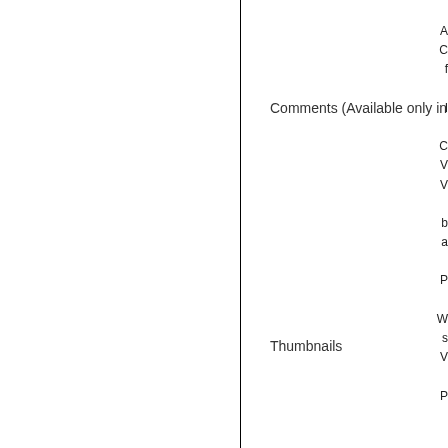Comments (Available only in Acrobat Pro)
Thumbnails